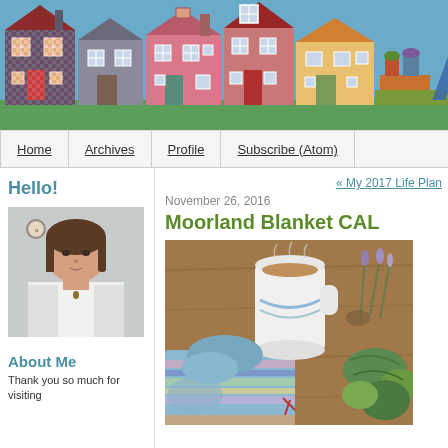[Figure (illustration): Blog header banner showing a row of colorful illustrated houses (fabric/quilt art style) on a blue background with a large letter 'A' visible on the right side]
Home | Archives | Profile | Subscribe (Atom)
Hello!
[Figure (photo): Portrait photo of a woman with brown shoulder-length hair wearing a white cardigan and a necklace, standing against a light grey wall with a small embroidery hoop visible behind her]
About Me
Thank you so much for visiting
« My 2017 Life Plan
November 26, 2016
Moorland Blanket CAL
[Figure (photo): Photo of colorful yarn skeins in green, blue, and purple tones on a wooden surface, with a white mug and dried lavender flowers]